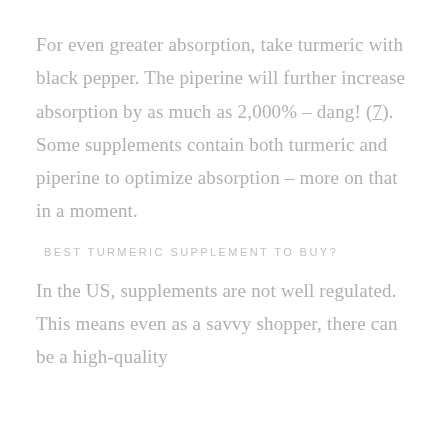For even greater absorption, take turmeric with black pepper. The piperine will further increase absorption by as much as 2,000% – dang! (7). Some supplements contain both turmeric and piperine to optimize absorption – more on that in a moment.
BEST TURMERIC SUPPLEMENT TO BUY?
In the US, supplements are not well regulated. This means even as a savvy shopper, there can be a high-quality